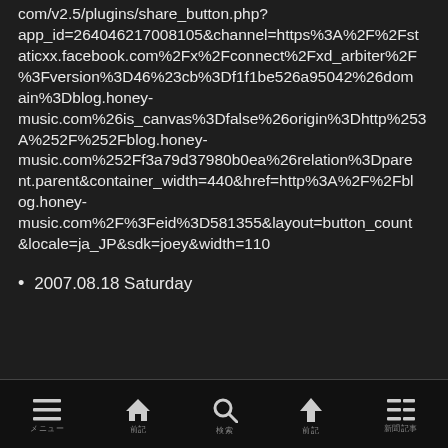com/v2.5/plugins/share_button.php?app_id=264046217008105&channel=https%3A%2F%2Fstaticxx.facebook.com%2Fx%2Fconnect%2Fxd_arbiter%2F%3Fversion%3D46%23cb%3Df1f1be526a95042%26domain%3Dblog.honey-music.com%26is_canvas%3Dfalse%26origin%3Dhttp%253A%252F%252Fblog.honey-music.com%252Ff3a79d37980b0ea%26relation%3Dparent.parent&container_width=440&href=http%3A%2F%2Fblog.honey-music.com%2F%3Feid%3D581355&layout=button_count&locale=ja_JP&sdk=joey&width=110
2007.08.18 Saturday
メニュー　　　　前記　　　　検索　　　　前記　　　　新聞記事